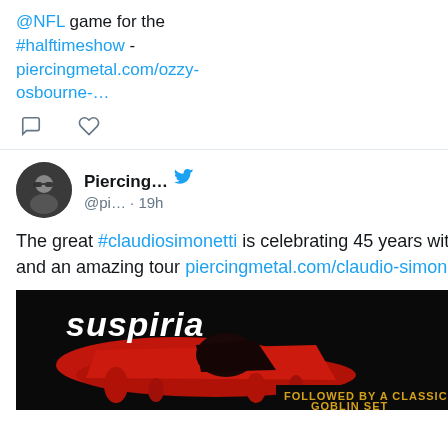@NFL game for the #halftimeshow - piercingmetal.com/ozzy-osbourne-…
[Figure (infographic): Tweet action icons: comment bubble and heart]
[Figure (photo): Avatar of Piercing... account showing person in sunglasses]
Piercing... @pi... · 19h
The great #claudiosimonetti is celebrating 45 years with #goblin and an amazing tour piercingmetal.com/claudio-simone…
[Figure (photo): Suspiria movie promotional image with text 'FOLLOWED BY A CLASSIC GOBLIN SET' on black background with red splash art]